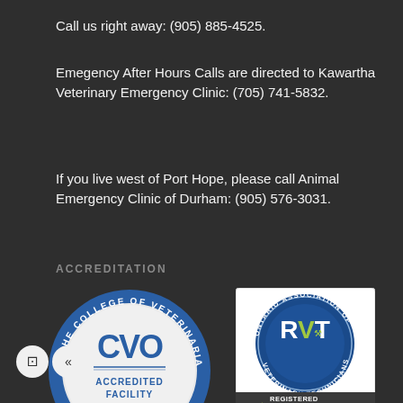Call us right away: (905) 885-4525.
Emegency After Hours Calls are directed to Kawartha Veterinary Emergency Clinic: (705) 741-5832.
If you live west of Port Hope, please call Animal Emergency Clinic of Durham: (905) 576-3031.
ACCREDITATION
[Figure (logo): CVO (College of Veterinarians of Ontario) Accredited Facility circular badge - blue ring with text around edge, white interior with CVO logo and 'ACCREDITED FACILITY' text]
[Figure (logo): OAVT (Ontario Association of Veterinary Technicians) RVT badge - circular blue seal with RVT text, checkmark, and 'REGISTERED VETERINARY TECHNICIAN ON-SITE' text, www.oavt.org]